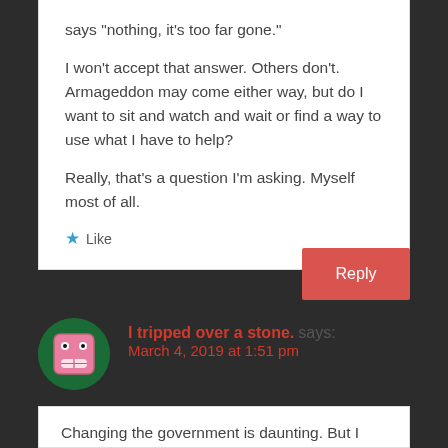says “nothing, it’s too far gone.”

I won’t accept that answer. Others don’t. Armageddon may come either way, but do I want to sit and watch and wait or find a way to use what I have to help?

Really, that’s a question I’m asking. Myself most of all.
Like
Reply
I tripped over a stone. says:
March 4, 2019 at 1:51 pm
Changing the government is daunting. But I